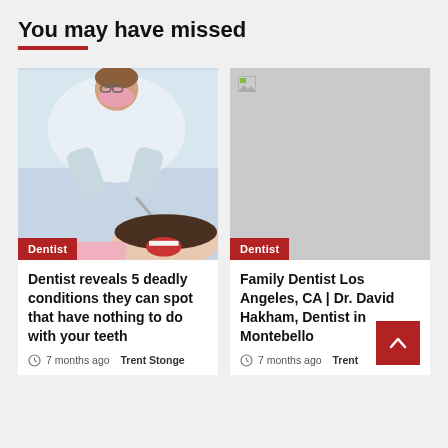You may have missed
[Figure (photo): A dentist in a white coat and pink mask working on a female patient who is smiling with mouth open, shown from above at an angle.]
Dentist
[Figure (photo): Broken/missing image placeholder with grey background.]
Dentist
Dentist reveals 5 deadly conditions they can spot that have nothing to do with your teeth
7 months ago  Trent Stonge
Family Dentist Los Angeles, CA | Dr. David Hakham, Dentist in Montebello
7 months ago  Trent